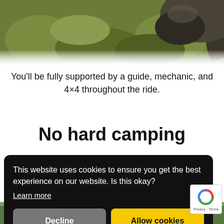[Figure (photo): Partial view of a rock or animal on mossy ground, cropped circular image at top of page]
You'll be fully supported by a guide, mechanic, and 4×4 throughout the ride.
No hard camping
This website uses cookies to ensure you get the best experience on our website. Is this okay?
Learn more
[Figure (photo): Partial view of outdoor scene at bottom of page, partially obscured by cookie banner]